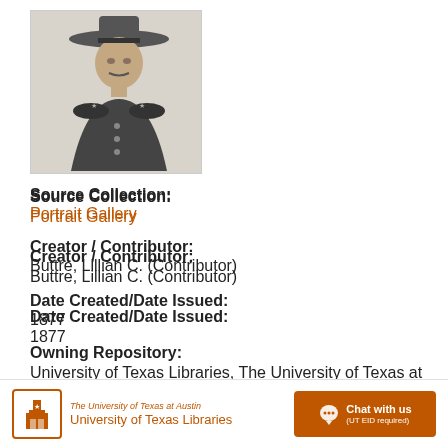[Figure (illustration): Black and white engraved portrait of a military officer wearing a wide-brimmed hat and decorated uniform, shown from the waist up in three-quarter view]
Source Collection:
Portrait Gallery
Creator / Contributor:
Buttre, Lillian C. (Contributor)
Date Created/Date Issued:
1877
Owning Repository:
University of Texas Libraries, The University of Texas at Austin
Type:
The University of Texas at Austin University of Texas Libraries | Chat with us (UT EID required)